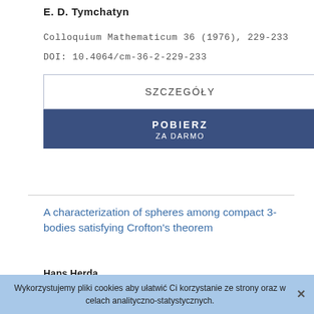E. D. Tymchatyn
Colloquium Mathematicum 36 (1976), 229-233
DOI: 10.4064/cm-36-2-229-233
SZCZEGÓŁY
POBIERZ ZA DARMO
A characterization of spheres among compact 3-bodies satisfying Crofton's theorem
Hans Herda
Colloquium Mathematicum 36 (1976), 235-236
DOI: 10.4064/cm-36-2-235-236
Wykorzystujemy pliki cookies aby ułatwić Ci korzystanie ze strony oraz w celach analityczno-statystycznych.